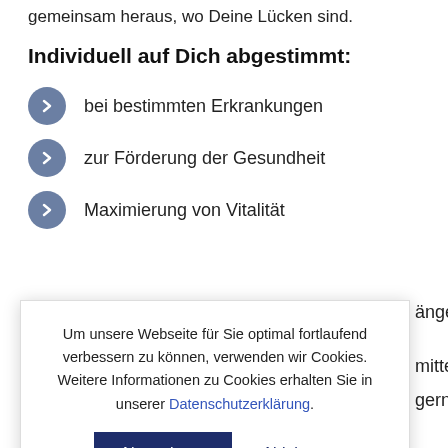gemeinsam heraus, wo Deine Lücken sind.
Individuell auf Dich abgestimmt:
bei bestimmten Erkrankungen
zur Förderung der Gesundheit
Maximierung von Vitalität
Um unsere Webseite für Sie optimal fortlaufend verbessern zu können, verwenden wir Cookies. Weitere Informationen zu Cookies erhalten Sie in unserer Datenschutzerklärung.
Akzeptieren
Ablehnen
Termin vereinbaren